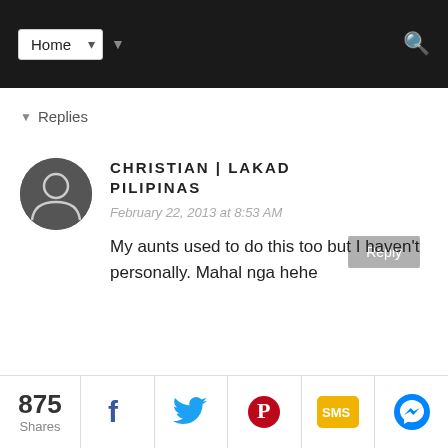Home
▾ Replies
Reply
CHRISTIAN | LAKAD PILIPINAS
February 22, 2013 at 8:53 AM
My aunts used to do this too but I haven't personally. Mahal nga hehe
Reply
875 Shares